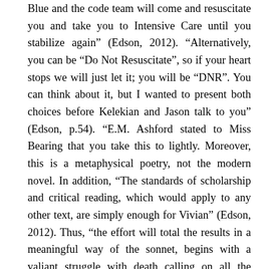Blue and the code team will come and resuscitate you and take you to Intensive Care until you stabilize again" (Edson, 2012). "Alternatively, you can be "Do Not Resuscitate", so if your heart stops we will just let it; you will be "DNR". You can think about it, but I wanted to present both choices before Kelekian and Jason talk to you" (Edson, p.54). "E.M. Ashford stated to Miss Bearing that you take this to lightly. Moreover, this is a metaphysical poetry, not the modern novel. In addition, "The standards of scholarship and critical reading, which would apply to any other text, are simply enough for Vivian" (Edson, 2012). Thus, "the effort will total the results in a meaningful way of the sonnet, begins with a valiant struggle with death calling on all the forces of intellect, and vanquish the enemy" (Edson, 2012). Additionally, it is ultimately about overcoming the seemingly in separable barriers separating life, death, and eternal life. At that moment, Vivian explains her death as a metaphysical conceit. Furthermore, Vivian's former undergraduate student, Jason is trying casually to understand Vivian undergoing chemotherapy. Therefore, "Vivian Bearing, the